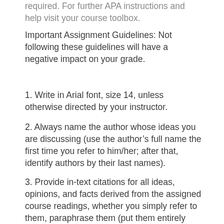required. For further APA instructions and help visit your course toolbox.
Important Assignment Guidelines: Not following these guidelines will have a negative impact on your grade.
1. Write in Arial font, size 14, unless otherwise directed by your instructor.
2. Always name the author whose ideas you are discussing (use the author's full name the first time you refer to him/her; after that, identify authors by their last names).
3. Provide in-text citations for all ideas, opinions, and facts derived from the assigned course readings, whether you simply refer to them, paraphrase them (put them entirely into your own words), or quote them. Place the in-text citation at the end of your sentence but before the period that ends your sentence. The in-text citation should give the author's last name (unless you've used it already in your sentence), the year of publication (if known),